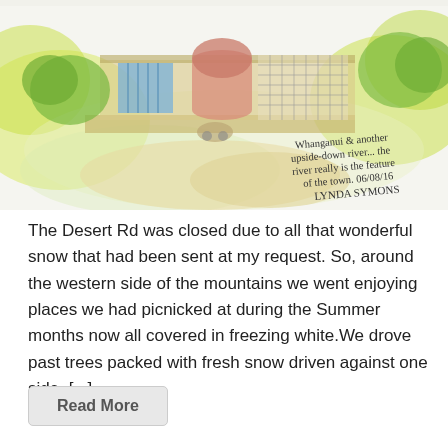[Figure (illustration): Watercolour illustration of a building along a riverside in Whanganui. Handwritten annotation reads: 'Whanganui & another upside-down river... the river really is the feature of the town. 06/08/16 LYNDA SYMONS']
The Desert Rd was closed due to all that wonderful snow that had been sent at my request. So, around the western side of the mountains we went enjoying places we had picnicked at during the Summer months now all covered in freezing white.We drove past trees packed with fresh snow driven against one side. [...]
Read More